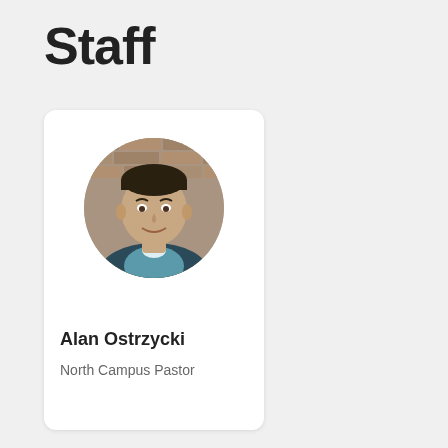Staff
[Figure (photo): Circular headshot photo of Alan Ostrzycki, a man in a teal/dark polo shirt, standing in front of a brick wall background.]
Alan Ostrzycki
North Campus Pastor